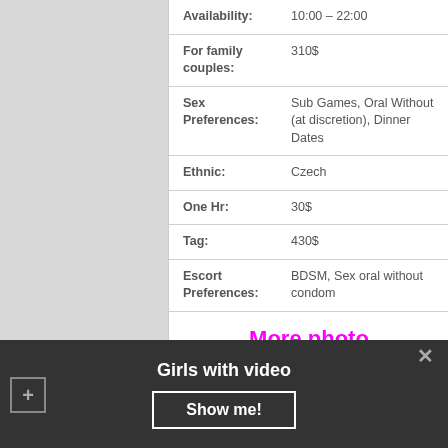| Field | Value |
| --- | --- |
| Availability: | 10:00 – 22:00 |
| For family couples: | 310$ |
| Sex Preferences: | Sub Games, Oral Without (at discretion), Dinner Dates |
| Ethnic: | Czech |
| One Hr: | 30$ |
| Tag: | 430$ |
| Escort Preferences: | BDSM, Sex oral without condom |
More photo
Girls with video
Show me!